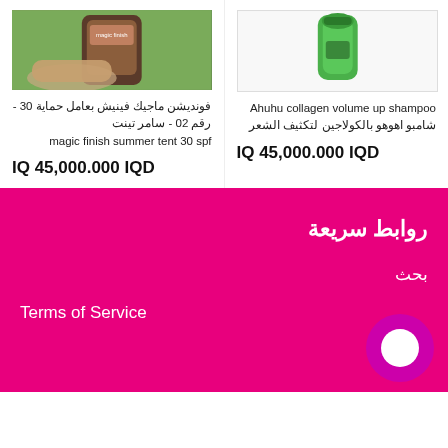[Figure (photo): Product photo of a foundation/sunscreen product held in hand on grass background]
فونديشن ماجيك فينيش بعامل حماية 30 - رقم 02 - سامر تينتmagic finish summer tent 30 spf
IQ 45,000.000 IQD
[Figure (photo): Product photo of green shampoo bottle on white background]
Ahuhu collagen volume up shampoo شامبو اهوهو بالكولاجين لتكثيف الشعر
IQ 45,000.000 IQD
روابط سريعة
بحث
Terms of Service